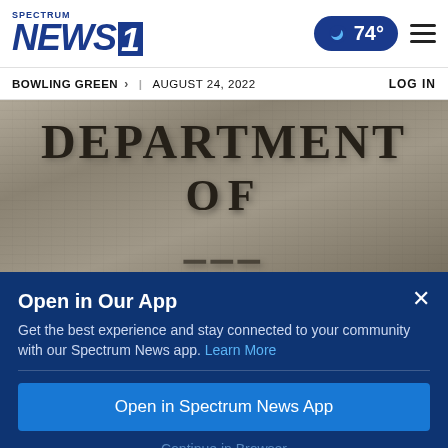Spectrum NEWS 1  74°  BOWLING GREEN > | AUGUST 24, 2022  LOG IN
[Figure (photo): Stone building facade with large engraved letters reading DEPARTMENT OF (partially visible third line)]
Open in Our App
Get the best experience and stay connected to your community with our Spectrum News app. Learn More
Open in Spectrum News App
Continue in Browser